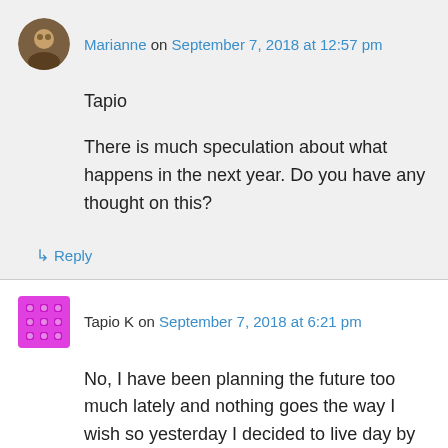Marianne on September 7, 2018 at 12:57 pm
Tapio

There is much speculation about what happens in the next year. Do you have any thought on this?
↳ Reply
Tapio K on September 7, 2018 at 6:21 pm
No, I have been planning the future too much lately and nothing goes the way I wish so yesterday I decided to live day by day just like Jesus tells to do in the gospel. I am going to stop to plan the future. But perhaps I am still a little